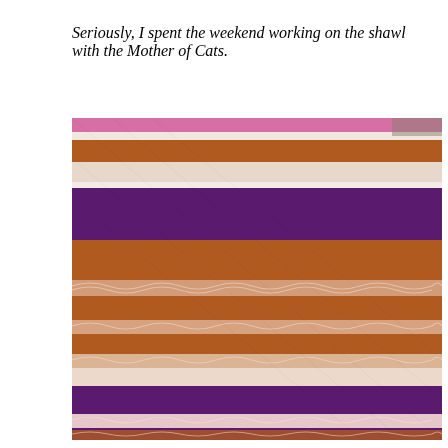Seriously, I spent the weekend working on the shawl with the Mother of Cats.
[Figure (photo): Close-up photograph of a knitted shawl with horizontal stripes in purple, rust/brown, white, and pink/speckled yarn, showing both plain knit rows and open lacework rows.]